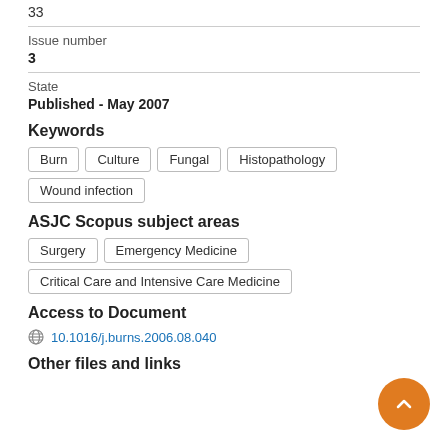33
Issue number
3
State
Published - May 2007
Keywords
Burn
Culture
Fungal
Histopathology
Wound infection
ASJC Scopus subject areas
Surgery
Emergency Medicine
Critical Care and Intensive Care Medicine
Access to Document
10.1016/j.burns.2006.08.040
Other files and links